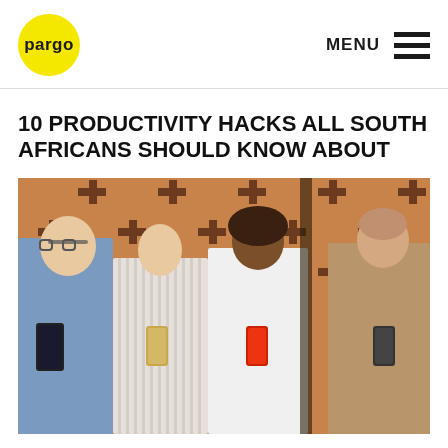pargo  MENU
10 PRODUCTIVITY HACKS ALL SOUTH AFRICANS SHOULD KNOW ABOUT
[Figure (photo): Four young people standing against a decorative brick wall, each looking down at their smartphones. From left to right: a man with glasses in a blue checked shirt, a woman in a striped dress, a woman in a white shirt smiling at her phone, and a man in a tan shirt.]